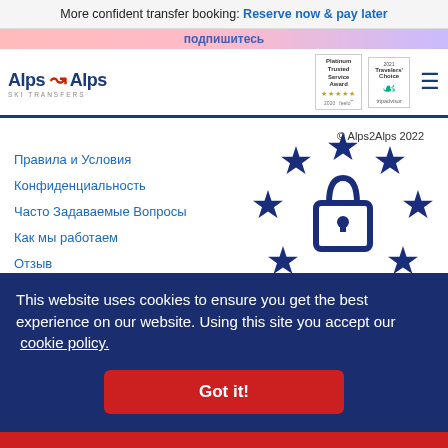More confident transfer booking: Reserve now & pay later
[Figure (logo): Alps2Alps Ski Transfers logo with Platinum Trusted Service Award 2020 (feefo) and Travellers' Choice (Tripadvisor) badges, plus hamburger menu icon]
подпишитесь
Правила и Условия
© Alps2Alps 2022
Конфиденциальность
Часто Задаваемые Вопросы
Как мы работаем
Отзыв
[Figure (illustration): GDPR badge with blue lock icon surrounded by EU stars circle in dark blue, with red GDPR text]
This website uses cookies to ensure you get the best experience on our website. Using this site you accept our cookie policy.
Got it!